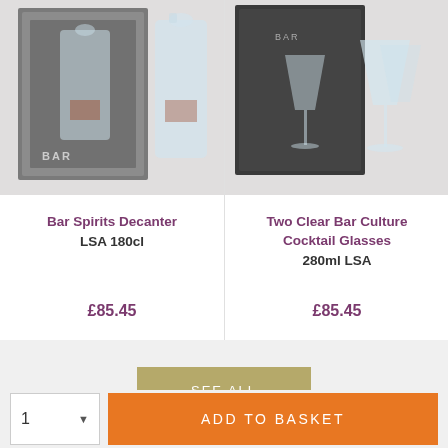[Figure (photo): Bar Spirits Decanter product photo showing a glass decanter with box packaging labeled BAR]
Bar Spirits Decanter
LSA 180cl
£85.45
[Figure (photo): Two Clear Bar Culture Cocktail Glasses product photo showing two martini glasses with dark box packaging labeled BAR]
Two Clear Bar Culture Cocktail Glasses
280ml LSA
£85.45
SEE ALL
1
ADD TO BASKET